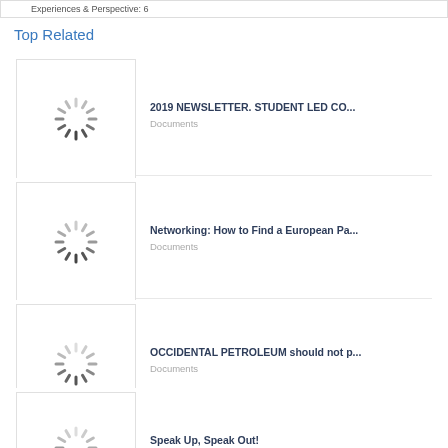Experiences & Perspective: 6
Top Related
[Figure (screenshot): Loading spinner thumbnail for document card 1]
2019 NEWSLETTER. STUDENT LED CO...
Documents
[Figure (screenshot): Loading spinner thumbnail for document card 2]
Networking: How to Find a European Pa...
Documents
[Figure (screenshot): Loading spinner thumbnail for document card 3]
OCCIDENTAL PETROLEUM should not p...
Documents
[Figure (screenshot): Loading spinner thumbnail for document card 4]
Speak Up, Speak Out!
Documents